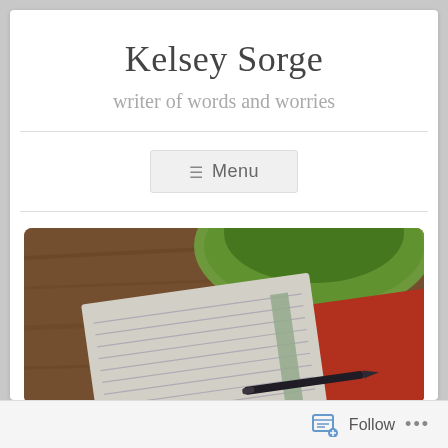Kelsey Sorge
writer of words and worries
≡  Menu
[Figure (photo): Overhead view of an open red notebook with lined pages and a fountain pen resting on it, beside a green bowl/cup, on a wooden surface]
Follow ...